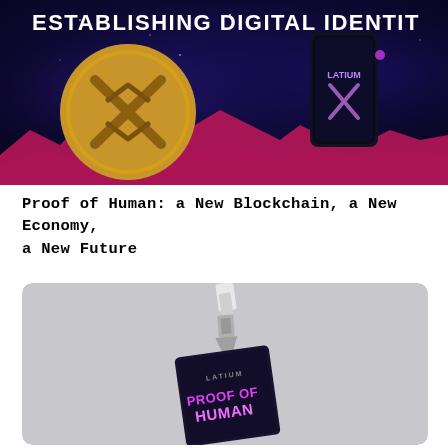[Figure (illustration): Dark space-themed banner with text 'ESTABLISHING DIGITAL IDENTITY' across the top. On the left is a large gold coin with an X-like symbol. On the right is a hand holding a dark smartphone displaying the Latium app with glowing X logo. Pink/magenta mountain terrain at the bottom.]
Proof of Human: a New Blockchain, a New Economy, a New Future
[Figure (photo): Photo of a conference badge/lanyard on a light gray background. The badge is dark-colored with 'LATIUM' text at top and bold stylized text 'PROOF OF HUMAN' in pink/purple. A white lanyard with a metal clip holds the badge.]